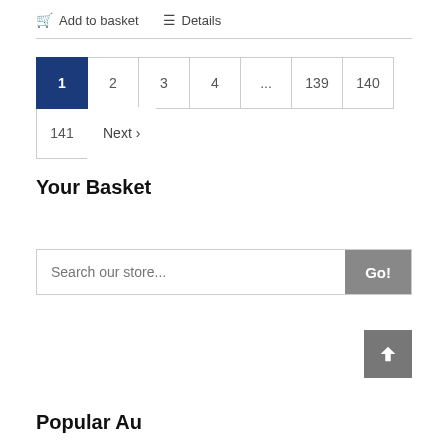🛒 Add to basket   ☰ Details
Pagination: 1 (active), 2, 3, 4, ..., 139, 140, 141, Next >
Your Basket
Search our store...  Go!
Popular Authors (partial, cut off)